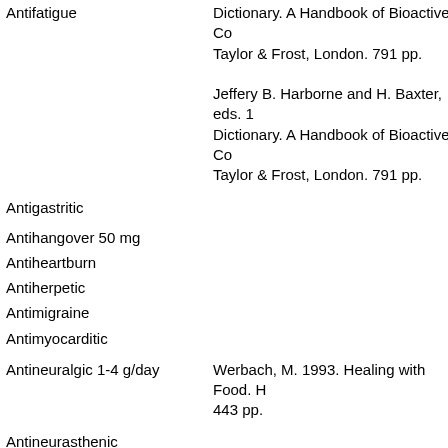| Antifatigue | Dictionary. A Handbook of Bioactive Co Taylor & Frost, London. 791 pp.
Jeffery B. Harborne and H. Baxter, eds. 1 Dictionary. A Handbook of Bioactive Co Taylor & Frost, London. 791 pp. |
| Antigastritic | Jeffery B. Harborne and H. Baxter, eds. 1 Dictionary. A Handbook of Bioactive Co Taylor & Frost, London. 791 pp. |
| Antihangover 50 mg |  |
| Antiheartburn |  |
| Antiherpetic |  |
| Antimigraine |  |
| Antimyocarditic |  |
| Antineuralgic 1-4 g/day | Werbach, M. 1993. Healing with Food. H 443 pp. |
| Antineurasthenic |  |
| Antineuritic |  |
| Antineuropathic 50 mg | Werbach, M. 1993. Healing with Food. H 443 pp. |
| Antipoliomyelitic |  |
| Insectifuge 75-150 mg/man/day | Martindale's 28th |
| Neuroprotective |  |
| Pesticide |  |
| LEAD | Plant                    --           0.8 |